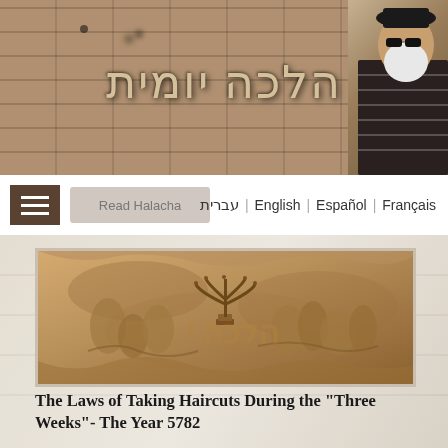הלכה יומית
[Figure (screenshot): Navigation bar with hamburger menu, Read Halacha button, and language links: עברית | English | Español | Français]
[Figure (photo): Ancient stone relief carving showing the Menorah (Arch of Titus) with figures carrying it, with Hebrew watermark overlay]
The Laws of Taking Haircuts During the "Three Weeks"- The Year 5782